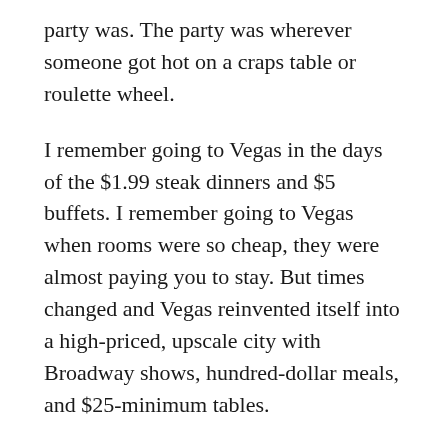party was. The party was wherever someone got hot on a craps table or roulette wheel.
I remember going to Vegas in the days of the $1.99 steak dinners and $5 buffets. I remember going to Vegas when rooms were so cheap, they were almost paying you to stay. But times changed and Vegas reinvented itself into a high-priced, upscale city with Broadway shows, hundred-dollar meals, and $25-minimum tables.
Vegas is doing it again.
Gambling is down, but traffic is strong, so they are finding new ways to get the customers' money. Everyone wants to party, but not everyone wants to play, so night clubs and mid-priced restaurants are on the rise. I saw one casino where they had